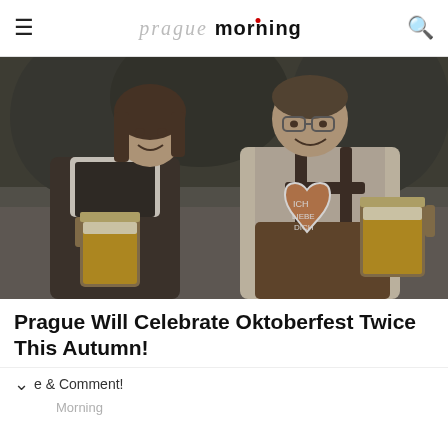prague morning
[Figure (photo): A smiling couple dressed in traditional Bavarian Oktoberfest attire (dirndl and lederhosen with suspenders), each holding large beer steins. The man holds a decorative gingerbread heart in the center. Background shows an outdoor festival setting.]
Prague Will Celebrate Oktoberfest Twice This Autumn!
Share & Comment!
Morning